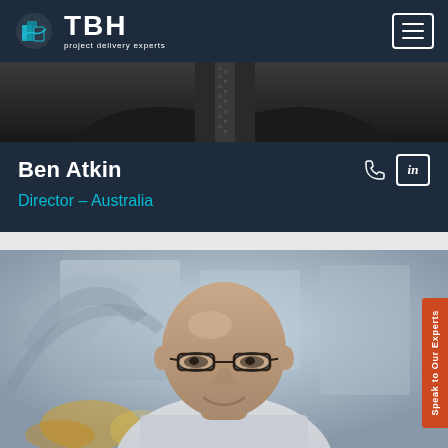[Figure (logo): TBH logo with teal/dark icon and white text reading 'TBH project delivery experts' on dark navy navigation bar]
[Figure (photo): Partial photo of a person in dark suit with patterned tie, cropped showing shoulders and neck area, dark background]
Ben Atkin
Director – Australia
[Figure (photo): Professional headshot of Ben Atkin, a bald man with glasses and short beard, smiling, wearing a light shirt, photographed outdoors in front of a modern glass building with curved architectural elements]
Speak to Our Experts